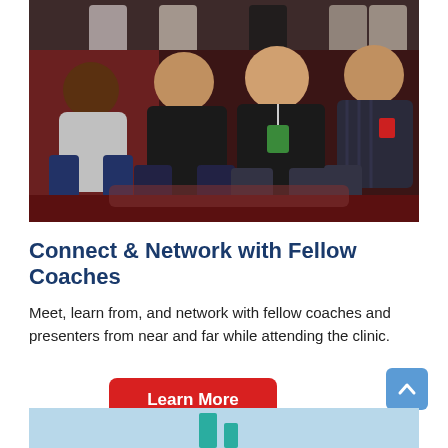[Figure (photo): Group photo of four men posing together indoors, wearing casual and sports-themed clothing, with sports jerseys visible in the background.]
Connect & Network with Fellow Coaches
Meet, learn from, and network with fellow coaches and presenters from near and far while attending the clinic.
[Figure (other): Red 'Learn More' button]
[Figure (other): Blue scroll-to-top arrow button in bottom right corner]
[Figure (photo): Partial photo at the bottom of the page showing a light blue sky background with a partial teal/green shape visible.]